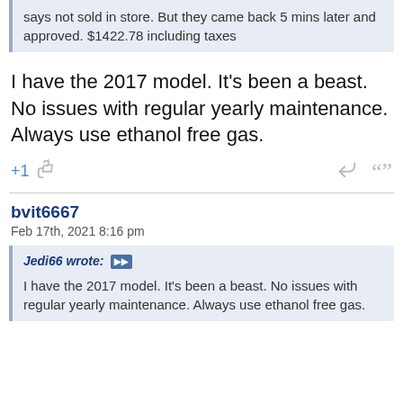says not sold in store. But they came back 5 mins later and approved. $1422.78 including taxes
I have the 2017 model. It's been a beast. No issues with regular yearly maintenance. Always use ethanol free gas.
+1 [thumbs up] [reply] [quote]
bvit6667
Feb 17th, 2021 8:16 pm
Jedi66 wrote: I have the 2017 model. It's been a beast. No issues with regular yearly maintenance. Always use ethanol free gas.